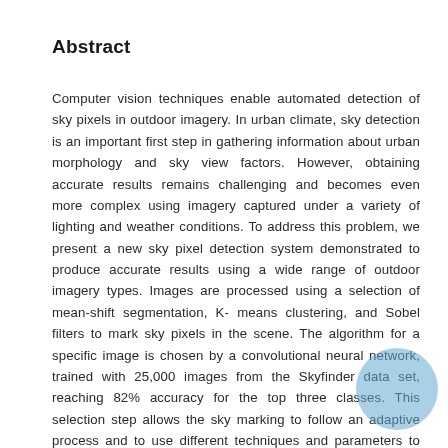Abstract
Computer vision techniques enable automated detection of sky pixels in outdoor imagery. In urban climate, sky detection is an important first step in gathering information about urban morphology and sky view factors. However, obtaining accurate results remains challenging and becomes even more complex using imagery captured under a variety of lighting and weather conditions. To address this problem, we present a new sky pixel detection system demonstrated to produce accurate results using a wide range of outdoor imagery types. Images are processed using a selection of mean-shift segmentation, K-means clustering, and Sobel filters to mark sky pixels in the scene. The algorithm for a specific image is chosen by a convolutional neural network, trained with 25,000 images from the Skyfinder data set, reaching 82% accuracy for the top three classes. This selection step allows the sky marking to follow an adaptive process and to use different techniques and parameters to best suit a particular image. An evaluation of fourteen different techniques and parameter sets shows that no single technique
[Figure (illustration): A translucent blue circle overlay in the bottom-right corner of the page, partially overlapping the text.]